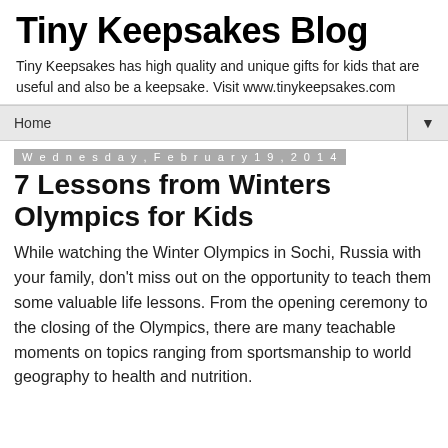Tiny Keepsakes Blog
Tiny Keepsakes has high quality and unique gifts for kids that are useful and also be a keepsake. Visit www.tinykeepsakes.com
Home
Wednesday, February 19, 2014
7 Lessons from Winters Olympics for Kids
While watching the Winter Olympics in Sochi, Russia with your family, don't miss out on the opportunity to teach them some valuable life lessons. From the opening ceremony to the closing of the Olympics, there are many teachable moments on topics ranging from sportsmanship to world geography to health and nutrition.